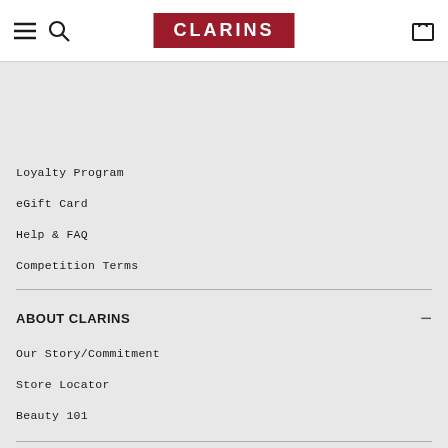CLARINS — Navigation header with hamburger menu, search, logo, and bag icons
Loyalty Program
eGift Card
Help & FAQ
Competition Terms
ABOUT CLARINS
Our Story/Commitment
Store Locator
Beauty 101